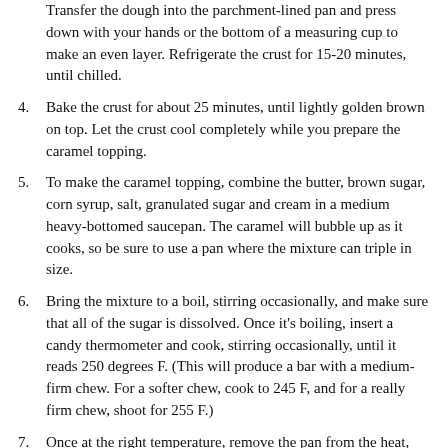Transfer the dough into the parchment-lined pan and press down with your hands or the bottom of a measuring cup to make an even layer. Refrigerate the crust for 15-20 minutes, until chilled.
4. Bake the crust for about 25 minutes, until lightly golden brown on top. Let the crust cool completely while you prepare the caramel topping.
5. To make the caramel topping, combine the butter, brown sugar, corn syrup, salt, granulated sugar and cream in a medium heavy-bottomed saucepan. The caramel will bubble up as it cooks, so be sure to use a pan where the mixture can triple in size.
6. Bring the mixture to a boil, stirring occasionally, and make sure that all of the sugar is dissolved. Once it's boiling, insert a candy thermometer and cook, stirring occasionally, until it reads 250 degrees F. (This will produce a bar with a medium-firm chew. For a softer chew, cook to 245 F, and for a really firm chew, shoot for 255 F.)
7. Once at the right temperature, remove the pan from the heat, stir in the vanilla extract, and pour the caramel on top of the shortbread.
8. Let the caramel sit until firm: about 2-3 hours at room